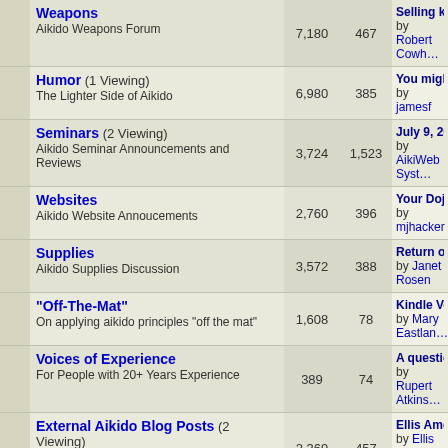| Forum | Posts | Threads | Last Post |
| --- | --- | --- | --- |
| Weapons
Aikido Weapons Forum | 7,180 | 467 | Selling katana
by Robert Cowh… |
| Humor (1 Viewing)
The Lighter Side of Aikido | 6,980 | 385 | You might be a…
by jamesf |
| Seminars (2 Viewing)
Aikido Seminar Announcements and Reviews | 3,724 | 1,523 | July 9, 2022: Zo…
by AikiWeb Syst… |
| Websites
Aikido Website Annoucements | 2,760 | 396 | Your Dojo's We…
by mjhacker |
| Supplies
Aikido Supplies Discussion | 3,572 | 388 | Return of the h…
by Janet Rosen |
| "Off-The-Mat"
On applying aikido principles "off the mat" | 1,608 | 78 | Kindle Vella bo…
by Mary Eastlan… |
| Voices of Experience
For People with 20+ Years Experience | 389 | 74 | A question for t…
by Rupert Atkins… |
| External Aikido Blog Posts (2 Viewing)
Posts from Non-AikiWeb Aikido Blogs & Websites | 2,369 | 457 | Ellis Amdur on…
by Ellis Amdur |